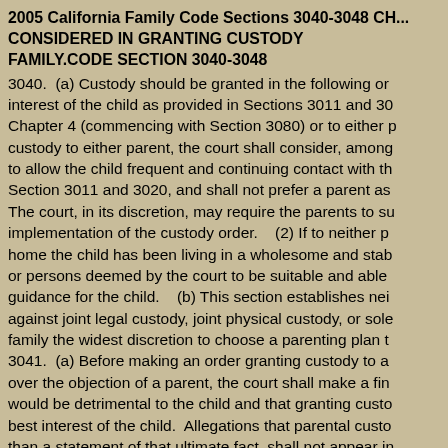2005 California Family Code Sections 3040-3048 CH... CONSIDERED IN GRANTING CUSTODY FAMILY.CODE SECTION 3040-3048
3040.  (a) Custody should be granted in the following or... interest of the child as provided in Sections 3011 and 30... Chapter 4 (commencing with Section 3080) or to either p... custody to either parent, the court shall consider, among... to allow the child frequent and continuing contact with th... Section 3011 and 3020, and shall not prefer a parent as... The court, in its discretion, may require the parents to su... implementation of the custody order.    (2) If to neither p... home the child has been living in a wholesome and stab... or persons deemed by the court to be suitable and able... guidance for the child.    (b) This section establishes nei... against joint legal custody, joint physical custody, or sole... family the widest discretion to choose a parenting plan t... 3041.  (a) Before making an order granting custody to a... over the objection of a parent, the court shall make a fin... would be detrimental to the child and that granting custo... best interest of the child.  Allegations that parental custo... than a statement of that ultimate fact, shall not appear in...